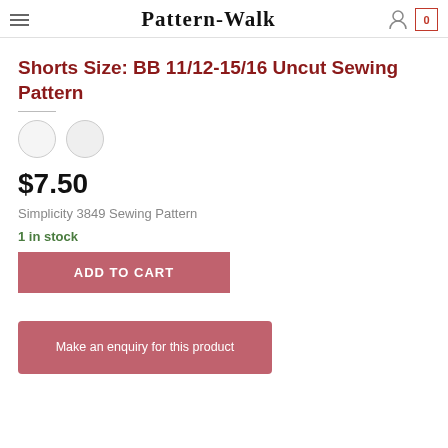Pattern-Walk
Shorts Size: BB 11/12-15/16 Uncut Sewing Pattern
$7.50
Simplicity 3849 Sewing Pattern
1 in stock
ADD TO CART
Make an enquiry for this product